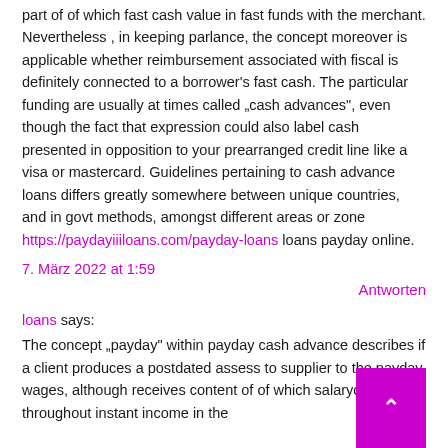part of of which fast cash value in fast funds with the merchant. Nevertheless , in keeping parlance, the concept moreover is applicable whether reimbursement associated with fiscal is definitely connected to a borrower's fast cash. The particular funding are usually at times called „cash advances", even though the fact that expression could also label cash presented in opposition to your prearranged credit line like a visa or mastercard. Guidelines pertaining to cash advance loans differs greatly somewhere between unique countries, and in govt methods, amongst different areas or zone https://paydayiiiloans.com/payday-loans loans payday online.
7. März 2022 at 1:59
Antworten
loans says:
The concept „payday" within payday cash advance describes if a client produces a postdated assess to supplier to the payday wages, although receives con[tent] of of which salaryday cost throughout instant income in the